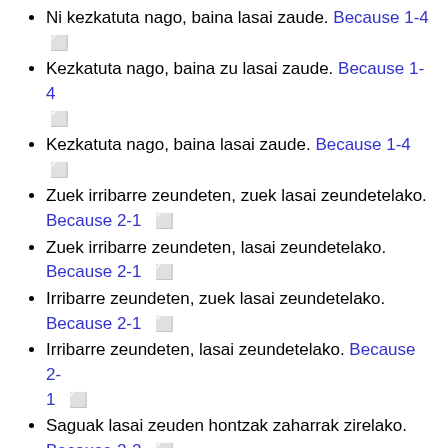Ni kezkatuta nago, baina lasai zaude. Because 1-4 []
Kezkatuta nago, baina zu lasai zaude. Because 1-4 []
Kezkatuta nago, baina lasai zaude. Because 1-4 []
Zuek irribarre zeundeten, zuek lasai zeundetelako. Because 2-1 []
Zuek irribarre zeundeten, lasai zeundetelako. Because 2-1 []
Irribarre zeundeten, zuek lasai zeundetelako. Because 2-1 []
Irribarre zeundeten, lasai zeundetelako. Because 2-1 []
Saguak lasai zeuden hontzak zaharrak zirelako. Because 2-2 []